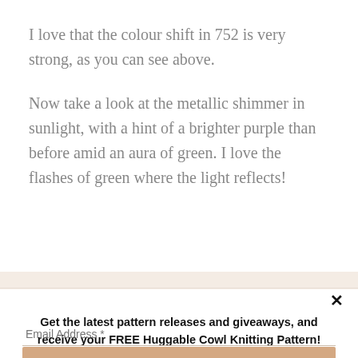I love that the colour shift in 752 is very strong, as you can see above.
Now take a look at the metallic shimmer in sunlight, with a hint of a brighter purple than before amid an aura of green. I love the flashes of green where the light reflects!
✕
Get the latest pattern releases and giveaways, and receive your FREE Huggable Cowl Knitting Pattern!
Email Address *